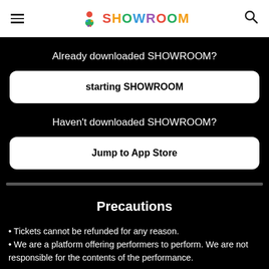SHOWROOM
Already downloaded SHOWROOM?
starting SHOWROOM
Haven't downloaded SHOWROOM?
Jump to App Store
Precautions
Tickets cannot be refunded for any reason.
We are a platform offering performers to perform. We are not responsible for the contents of the performance.